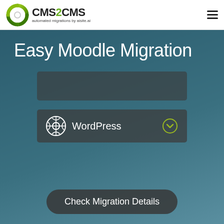[Figure (logo): CMS2CMS logo with green circular icon and text 'CMS2CMS automated migrations by aisite.ai']
[Figure (screenshot): Hamburger menu icon (three horizontal lines) in top right corner]
Easy Moodle Migration
[Figure (screenshot): Dark input box (source CMS field, empty)]
[Figure (screenshot): Dark dropdown selector showing WordPress logo and text 'WordPress' with a chevron/dropdown icon on the right]
[Figure (screenshot): Dark rounded button labeled 'Check Migration Details']